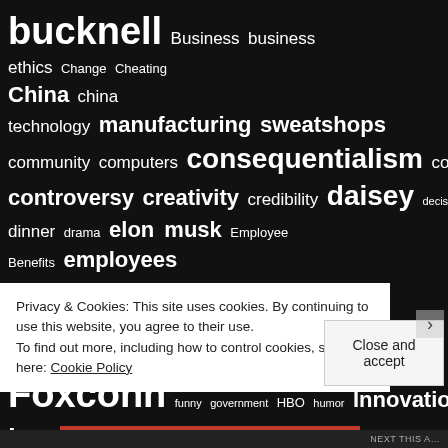[Figure (infographic): Tag cloud on dark background with words related to business ethics topics including: bucknell, Business, business ethics, Change, Cheating, China, china technology, manufacturing, sweatshops, community, computers, consequentialism, consumerism, controversy, creativity, credibility, daisey, decisions, deontology, dinner, drama, elon musk, Employee Benefits, employees, employee satisfaction, Environment, Ethics, Field Research, film, Foxconn, funny, government, HBO, humor, Innovation, invention, journalism, Kantian Ethics, Made in China, Mike Daisey, millennials, NBA, nfl, policy, politics, pop culture, poverty, power, race, Retraction, ripple effect, satire, shenzhen, Soccer, social responsibility, society, stakeholder, Steve Jobs, Strategy, sustainability, sustainability symposium, tal, technology, the onion, this american life, truth, white paper, working conditions — with font sizes indicating frequency/importance]
Privacy & Cookies: This site uses cookies. By continuing to use this website, you agree to their use. To find out more, including how to control cookies, see here: Cookie Policy
Close and accept